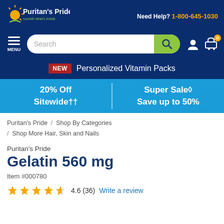[Figure (logo): Puritan's Pride logo - sun and leaf design with tagline 'nourish what's inside']
Need Help? 1-800-645-1030
[Figure (screenshot): Search bar with menu icon, search input field with magnifying glass button, user account icon, and shopping cart icon with 0 badge]
NEW  Personalized Vitamin Packs
20% Off Sitewide†† | Super Sale◊ Save up to 50%
Puritan's Pride / Shop By Categories / Shop More Hair, Skin and Nails
Puritan's Pride
Gelatin 560 mg
Item #000780
4.6 (36)  Write a review